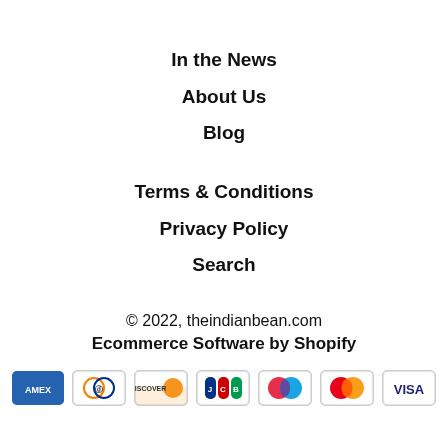In the News
About Us
Blog
Terms & Conditions
Privacy Policy
Search
© 2022, theindianbean.com
Ecommerce Software by Shopify
[Figure (logo): Payment method icons: American Express, Diners Club, Discover, JCB, Maestro, Mastercard, Visa]